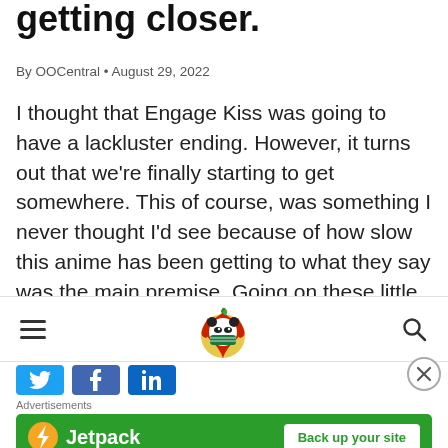getting closer.
By OOCentral • August 29, 2022
I thought that Engage Kiss was going to have a lackluster ending. However, it turns out that we're finally starting to get somewhere. This of course, was something I never thought I'd see because of how slow this anime has been getting to what they say was the main premise. Going on these little side…
[Figure (other): Website navigation bar with hamburger menu icon, panda logo in center, and search icon on right]
[Figure (other): Three social share buttons: Twitter (blue), Facebook (blue), LinkedIn (dark blue)]
[Figure (other): Close/dismiss button (X in circle) on the right side]
Advertisements
[Figure (other): Jetpack advertisement banner with green background, Jetpack logo and name on left, 'Back up your site' call-to-action button on right]